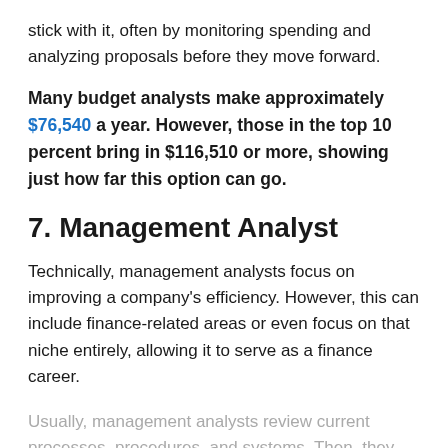stick with it, often by monitoring spending and analyzing proposals before they move forward.
Many budget analysts make approximately $76,540 a year. However, those in the top 10 percent bring in $116,510 or more, showing just how far this option can go.
7. Management Analyst
Technically, management analysts focus on improving a company’s efficiency. However, this can include finance-related areas or even focus on that niche entirely, allowing it to serve as a finance career.
Usually, management analysts review current processes, procedures, and systems. Then, they make recommendations for improvements, often including